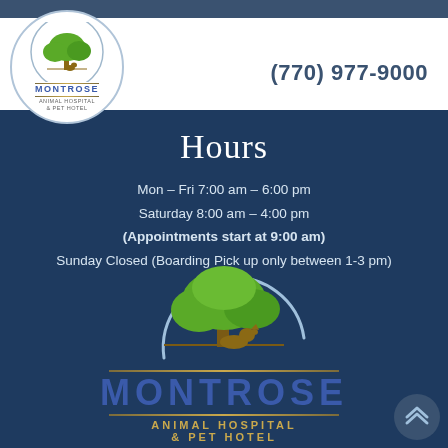[Figure (logo): Montrose Animal Hospital & Pet Hotel logo — circular badge with green tree, dog/cat silhouette, MONTROSE text in blue, gold divider lines, ANIMAL HOSPITAL & PET HOTEL subtitle]
(770) 977-9000
Hours
Mon – Fri 7:00 am – 6:00 pm
Saturday 8:00 am – 4:00 pm
(Appointments start at 9:00 am)
Sunday Closed (Boarding Pick up only between 1-3 pm)
[Figure (logo): Large Montrose Animal Hospital & Pet Hotel logo — circular arc with green tree and animal silhouette, MONTROSE in large blue letters, gold divider lines, ANIMAL HOSPITAL & PET HOTEL in gold letters]